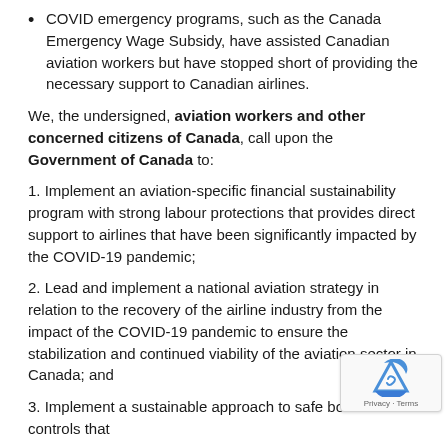COVID emergency programs, such as the Canada Emergency Wage Subsidy, have assisted Canadian aviation workers but have stopped short of providing the necessary support to Canadian airlines.
We, the undersigned, aviation workers and other concerned citizens of Canada, call upon the Government of Canada to:
1. Implement an aviation-specific financial sustainability program with strong labour protections that provides direct support to airlines that have been significantly impacted by the COVID-19 pandemic;
2. Lead and implement a national aviation strategy in relation to the recovery of the airline industry from the impact of the COVID-19 pandemic to ensure the stabilization and continued viability of the aviation sector in Canada; and
3. Implement a sustainable approach to safe border controls that